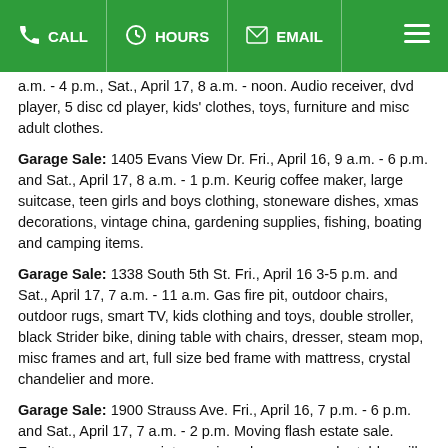CALL | HOURS | EMAIL | ☰
a.m. - 4 p.m., Sat., April 17, 8 a.m. - noon. Audio receiver, dvd player, 5 disc cd player, kids' clothes, toys, furniture and misc adult clothes.
Garage Sale: 1405 Evans View Dr. Fri., April 16, 9 a.m. - 6 p.m. and Sat., April 17, 8 a.m. - 1 p.m. Keurig coffee maker, large suitcase, teen girls and boys clothing, stoneware dishes, xmas decorations, vintage china, gardening supplies, fishing, boating and camping items.
Garage Sale: 1338 South 5th St. Fri., April 16 3-5 p.m. and Sat., April 17, 7 a.m. - 11 a.m. Gas fire pit, outdoor chairs, outdoor rugs, smart TV, kids clothing and toys, double stroller, black Strider bike, dining table with chairs, dresser, steam mop, misc frames and art, full size bed frame with mattress, crystal chandelier and more.
Garage Sale: 1900 Strauss Ave. Fri., April 16, 7 p.m. - 6 p.m. and Sat., April 17, 7 a.m. - 2 p.m. Moving flash estate sale. Furniture, area rugs, vintage misc, glassware, parlor table, milk glass, thimble collection, strider exerciser, boys clothes 4-5, kids pottery barn craft table, toys books house wares, Misc.